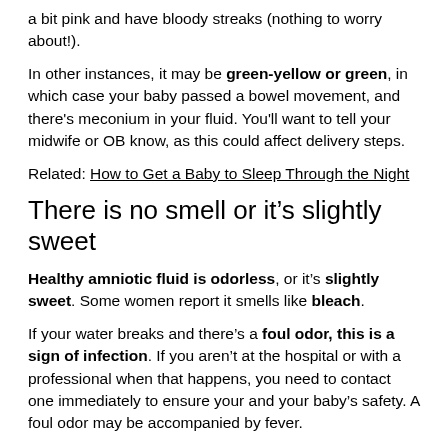a bit pink and have bloody streaks (nothing to worry about!).
In other instances, it may be green-yellow or green, in which case your baby passed a bowel movement, and there's meconium in your fluid. You'll want to tell your midwife or OB know, as this could affect delivery steps.
Related: How to Get a Baby to Sleep Through the Night
There is no smell or it’s slightly sweet
Healthy amniotic fluid is odorless, or it’s slightly sweet. Some women report it smells like bleach.
If your water breaks and there’s a foul odor, this is a sign of infection. If you aren’t at the hospital or with a professional when that happens, you need to contact one immediately to ensure your and your baby’s safety. A foul odor may be accompanied by fever.